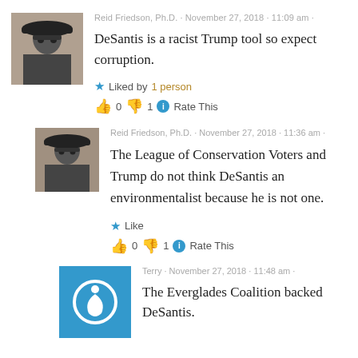Reid Friedson, Ph.D. · November 27, 2018 · 11:09 am ·
DeSantis is a racist Trump tool so expect corruption.
★ Liked by 1person
👍 0 👎 1 ⓘ Rate This
Reid Friedson, Ph.D. · November 27, 2018 · 11:36 am ·
The League of Conservation Voters and Trump do not think DeSantis an environmentalist because he is not one.
★ Like
👍 0 👎 1 ⓘ Rate This
Terry · November 27, 2018 · 11:48 am ·
The Everglades Coalition backed DeSantis.